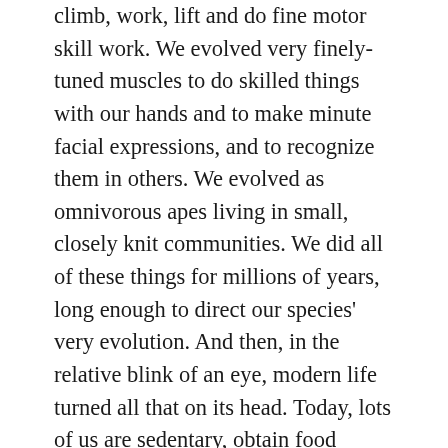climb, work, lift and do fine motor skill work. We evolved very finely-tuned muscles to do skilled things with our hands and to make minute facial expressions, and to recognize them in others. We evolved as omnivorous apes living in small, closely knit communities. We did all of these things for millions of years, long enough to direct our species' very evolution. And then, in the relative blink of an eye, modern life turned all that on its head. Today, lots of us are sedentary, obtain food through an industrial, invisible food chain, live largely isolated from each other and far from family